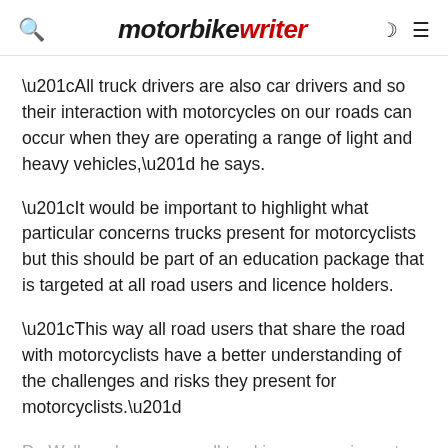motorbike writer
“All truck drivers are also car drivers and so their interaction with motorcycles on our roads can occur when they are operating a range of light and heavy vehicles,” he says.
“It would be important to highlight what particular concerns trucks present for motorcyclists but this should be part of an education package that is targeted at all road users and licence holders.
“This way all road users that share the road with motorcyclists have a better understanding of the challenges and risks they present for motorcyclists.”
Dr. Walker also says small trucking companies cut corners costs and industry regulation is lacking with owner-operators